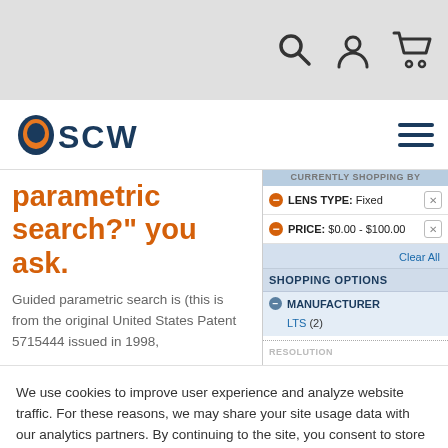SCW website header with search, user, and cart icons
[Figure (logo): SCW logo with shield icon and SCW text in blue/orange]
parametric search?" you ask.
Guided parametric search is (this is from the original United States Patent 5715444 issued in 1998,
LENS TYPE: Fixed
PRICE: $0.00 - $100.00
Clear All
SHOPPING OPTIONS
MANUFACTURER
LTS (2)
We use cookies to improve user experience and analyze website traffic. For these reasons, we may share your site usage data with our analytics partners. By continuing to the site, you consent to store on your device all the technologies described in our Privacy Policy.